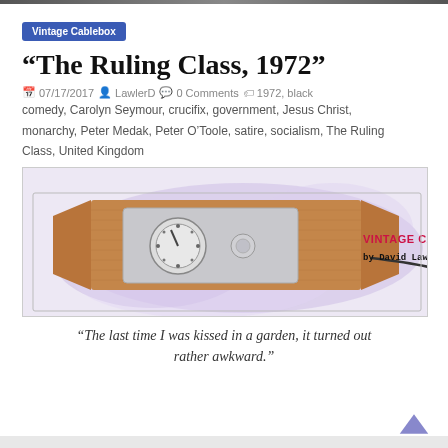Vintage Cablebox
“The Ruling Class, 1972”
07/17/2017  LawlerD  0 Comments  1972, black comedy, Carolyn Seymour, crucifix, government, Jesus Christ, monarchy, Peter Medak, Peter O’Toole, satire, socialism, The Ruling Class, United Kingdom
[Figure (illustration): Hand-drawn illustration of a vintage cable box remote control with wood paneling and a dial, with text 'VINTAGE CABLE BOX by David Lawler' in red and black lettering on a purple watercolor background.]
“The last time I was kissed in a garden, it turned out rather awkward.”